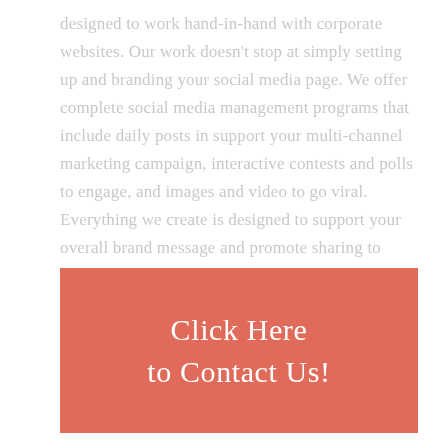designed to work hand-in-hand with corporate websites. Our work doesn't stop at simply setting up and branding your social media page. We offer complete social media management programs that include daily posts in support your multi-channel marketing campaign, interactive contests and polls to engage, and images and video to go viral. Everything we create is designed to support your overall brand message and promote sharing to extend your reach.
Click Here to Contact Us!